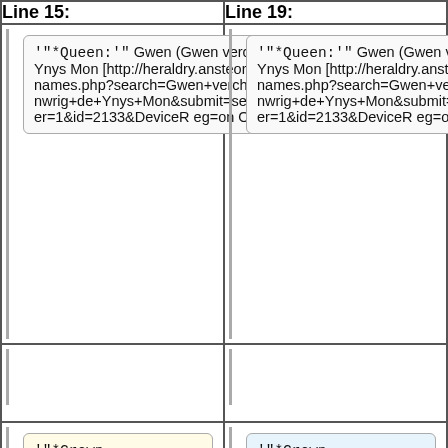| Line 15: | Line 19: |
| --- | --- |
| '"*Queen:'" Gwen (Gwen verch Cynwrig de Ynys Mon [http://heraldry.ansteorra.org/OP/op-names.php?search=Gwen+verch+Cynwrig+de+Ynys+Mon&submit=search&OP=&order=1&id=2133&DeviceReg=on OP]) | '"*Queen:'" Gwen (Gwen verch Cynwrig de Ynys Mon [http://heraldry.ansteorra.org/OP/op-names.php?search=Gwen+verch+Cynwrig+de+Ynys+Mon&submit=search&OP=&order=1&id=2133&DeviceReg=on OP]) |
|  |  |
| '"*Crown Tournament:'" January 15, 2011 at [[Bryn Gwlad]] | '"*Crown Tournament:'" January 15, 2011 at [[Bryn Gwlad]] - Video of final bout: |